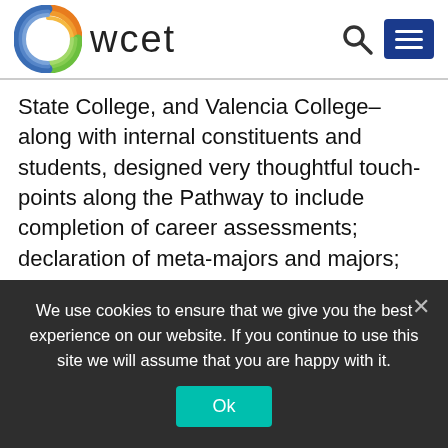wcet
State College, and Valencia College–along with internal constituents and students, designed very thoughtful touch-points along the Pathway to include completion of career assessments; declaration of meta-majors and majors; attendance at various skills workshops; meetings with advisors that are planned and intentional; participation with various student groups; and guided assistance in meeting all of the requirements for the UCF application and transfer process. The Pathway is built and accessible within
We use cookies to ensure that we give you the best experience on our website. If you continue to use this site we will assume that you are happy with it.